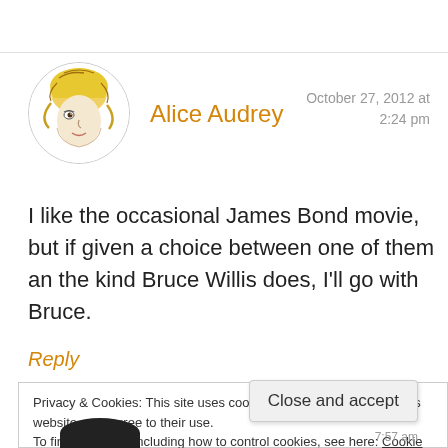[Figure (illustration): Circular avatar with a hand-drawn illustration of a woman's face with flowing blonde/golden hair on white background]
Alice Audrey
October 27, 2012 at 2:24 pm
I like the occasional James Bond movie, but if given a choice between one of them an the kind Bruce Willis does, I'll go with Bruce.
Reply
Privacy & Cookies: This site uses cookies. By continuing to use this website, you agree to their use.
To find out more, including how to control cookies, see here: Cookie Policy
Close and accept
7:57 am